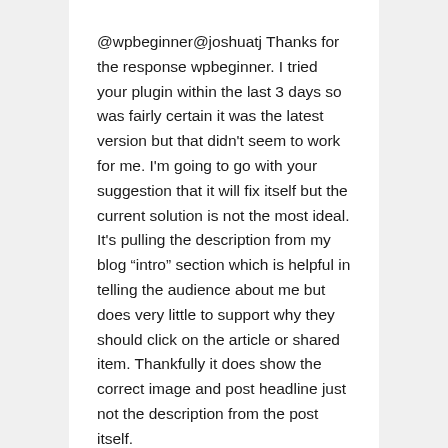@wpbeginner@joshuatj Thanks for the response wpbeginner. I tried your plugin within the last 3 days so was fairly certain it was the latest version but that didn't seem to work for me. I'm going to go with your suggestion that it will fix itself but the current solution is not the most ideal. It's pulling the description from my blog “intro” section which is helpful in telling the audience about me but does very little to support why they should click on the article or shared item. Thankfully it does show the correct image and post headline just not the description from the post itself.
Since Facebook hyped open graph so much you'd like to have imagined they would have